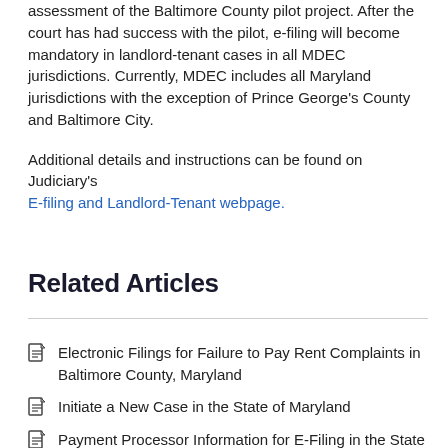assessment of the Baltimore County pilot project. After the court has had success with the pilot, e-filing will become mandatory in landlord-tenant cases in all MDEC jurisdictions. Currently, MDEC includes all Maryland jurisdictions with the exception of Prince George's County and Baltimore City.
Additional details and instructions can be found on Judiciary's E-filing and Landlord-Tenant webpage.
Related Articles
Electronic Filings for Failure to Pay Rent Complaints in Baltimore County, Maryland
Initiate a New Case in the State of Maryland
Payment Processor Information for E-Filing in the State of Maryland